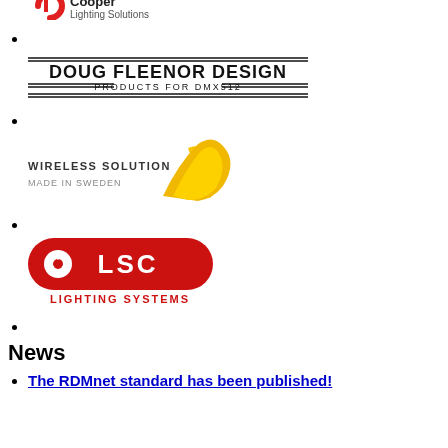[Figure (logo): Cooper Lighting Solutions logo - red stylized C icon with text 'Cooper Lighting Solutions']
[Figure (logo): Doug Fleenor Design logo - bold black text 'DOUG FLEENOR DESIGN' with subtitle 'PRODUCTS FOR DMX512' and double horizontal rules]
[Figure (logo): Wireless Solution Made in Sweden logo - gold curved arc/wifi symbol with text 'WIRELESS SOLUTION MADE IN SWEDEN']
[Figure (logo): LSC Lighting Systems logo - red rounded rectangle with white LSC text and propeller/fan icon, red text 'LIGHTING SYSTEMS' below]
News
The RDMnet standard has been published!